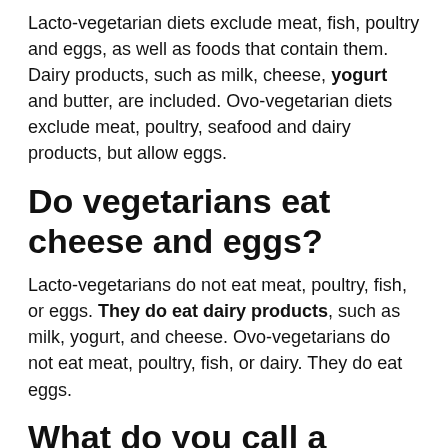Lacto-vegetarian diets exclude meat, fish, poultry and eggs, as well as foods that contain them. Dairy products, such as milk, cheese, yogurt and butter, are included. Ovo-vegetarian diets exclude meat, poultry, seafood and dairy products, but allow eggs.
Do vegetarians eat cheese and eggs?
Lacto-vegetarians do not eat meat, poultry, fish, or eggs. They do eat dairy products, such as milk, yogurt, and cheese. Ovo-vegetarians do not eat meat, poultry, fish, or dairy. They do eat eggs.
What do you call a